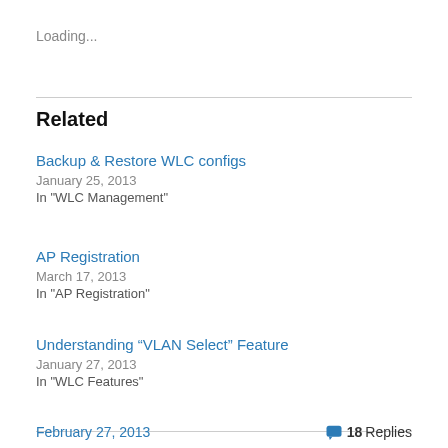Loading...
Related
Backup & Restore WLC configs
January 25, 2013
In "WLC Management"
AP Registration
March 17, 2013
In "AP Registration"
Understanding “VLAN Select” Feature
January 27, 2013
In "WLC Features"
February 27, 2013   18 Replies